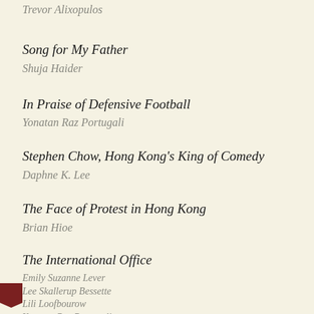Trevor Alixopulos
Song for My Father
Shuja Haider
In Praise of Defensive Football
Yonatan Raz Portugali
Stephen Chow, Hong Kong's King of Comedy
Daphne K. Lee
The Face of Protest in Hong Kong
Brian Hioe
The International Office
Emily Suzanne Lever
Lee Skallerup Bessette
Lili Loofbourow
Yonatan Raz Portugali
Agri Ismail